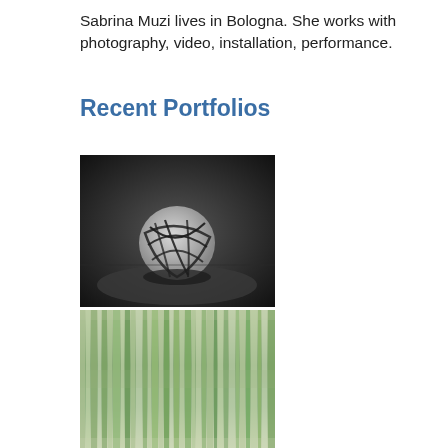Sabrina Muzi lives in Bologna. She works with photography, video, installation, performance.
Recent Portfolios
[Figure (photo): Black and white photograph of a round object wrapped tightly with dark cords or wires, sitting on a floor against a wall.]
[Figure (photo): Color photograph with blurred vertical streaks in green and gray tones, resembling motion-blurred vegetation or reeds.]